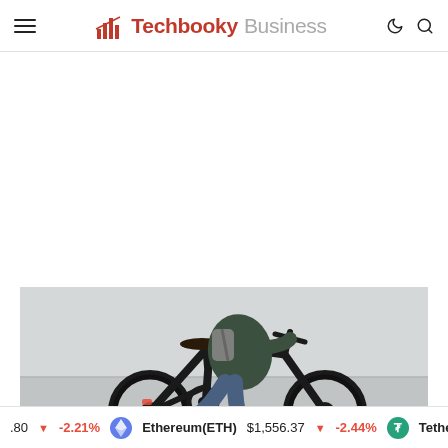Techbooky Business
[Figure (photo): Person riding a dark urban bicycle, wearing a green hoodie and jeans with a grey backpack, against a light grey wall background.]
.80 ▼ -2.21% Ethereum(ETH) $1,556.37 ▼ -2.44% Tethe